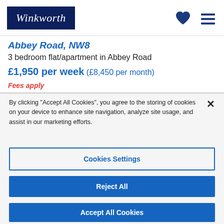Winkworth
Abbey Road, NW8
3 bedroom flat/apartment in Abbey Road
£1,950 per week (£8,450 per month)
Fees apply
By clicking "Accept All Cookies", you agree to the storing of cookies on your device to enhance site navigation, analyze site usage, and assist in our marketing efforts.
Cookies Settings
Reject All
Accept All Cookies